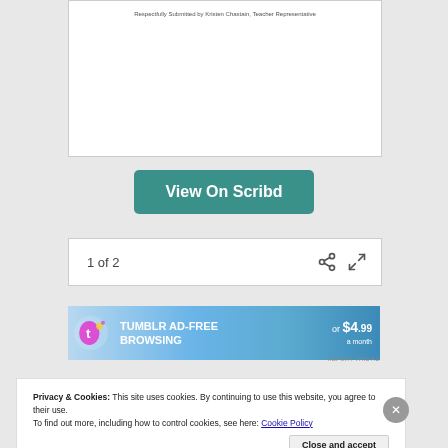Respectfully Submitted by Kristen Chastain, Teacher Representative
[Figure (screenshot): View On Scribd button - teal rounded rectangle]
1 of 2
[Figure (screenshot): Tumblr ad banner: TUMBLR AD-FREE BROWSING or $4.99 a month]
REPORT THIS AD
Privacy & Cookies: This site uses cookies. By continuing to use this website, you agree to their use.
To find out more, including how to control cookies, see here: Cookie Policy
Close and accept